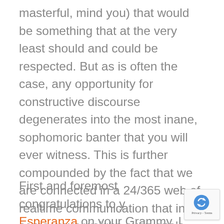masterful, mind you) that would be something that at the very least should and could be respected. But as is often the case, any opportunity for constructive discourse degenerates into the most inane, sophomoric banter that you will ever witness. This is further compounded by the fact that we are connected in a 24/365 web of realtime communication that in some ways weighs everyone's words equally. That is a great and awful phenomenon all at once.
First and foremost congratulations to y… Esperanza on your Grammy. I don't want…